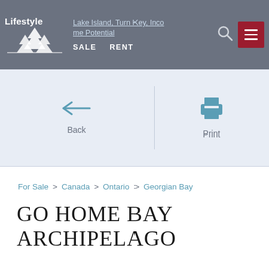Lifestyle | Lake Island, Turn Key, Income Potential | SALE | RENT
[Figure (screenshot): Back navigation arrow and Print icon in a light blue panel with a vertical divider between them]
For Sale > Canada > Ontario > Georgian Bay
GO HOME BAY ARCHIPELAGO